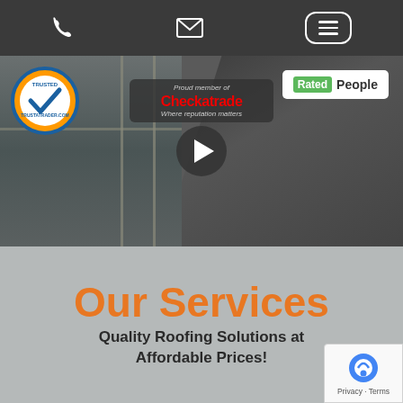Navigation bar with phone, email, and menu icons
[Figure (screenshot): Video thumbnail showing roofing work on a house with slate tiles and scaffolding. Overlaid badges: TrustATrader trusted trader badge on left, Checkatrade member badge in center, Rated People badge on right. Play button in center.]
Our Services
Quality Roofing Solutions at Affordable Prices!